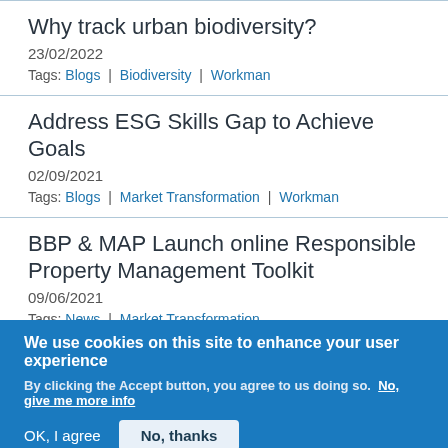Why track urban biodiversity?
23/02/2022
Tags: Blogs | Biodiversity | Workman
Address ESG Skills Gap to Achieve Goals
02/09/2021
Tags: Blogs | Market Transformation | Workman
BBP & MAP Launch online Responsible Property Management Toolkit
09/06/2021
Tags: News | Market Transformation
We use cookies on this site to enhance your user experience
By clicking the Accept button, you agree to us doing so. No, give me more info
OK, I agree
No, thanks